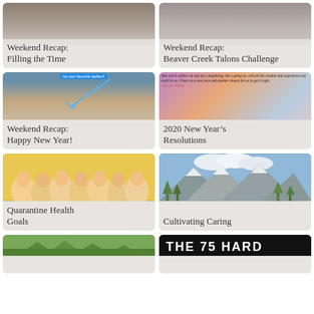[Figure (photo): Blog post thumbnail: landscape/outdoor scene, snowy or wintry tones]
Weekend Recap: Filling the Time
[Figure (photo): Blog post thumbnail: outdoor scene with muted sky tones]
Weekend Recap: Beaver Creek Talons Challenge
[Figure (photo): Selfie of people, blue arrow annotation with text 'my two favorite ladies!!']
Weekend Recap: Happy New Year!
[Figure (photo): Inspirational quote image with purple/orange sunset and bare tree: 'Year end is neither an end nor a beginning, but a going on, with all the wisdom that experience can instill in us. Cheers to a new year and another chance for us to get it right. -Oprah Winfrey']
2020 New Year’s Resolutions
[Figure (illustration): Animated cartoon image of multiple identical overweight characters (Family Guy style) in a room]
Quarantine Health Goals
[Figure (photo): Mountain landscape with snow-capped peaks, green trees, blue sky with clouds]
Cultivating Caring
[Figure (photo): Partial thumbnail of outdoor/nature scene]
[Figure (other): Partial thumbnail showing bold white text on black background: 'THE 75 HARD']